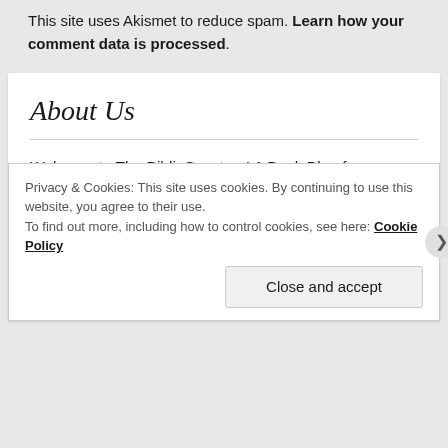This site uses Akismet to reduce spam. Learn how your comment data is processed.
About Us
Welcome to The BiblioSanctum! A Book Blog for Speculative Fiction, Graphic Novels... and more! Steff (Mogsy), Tiara and Wendy are proud moms, geeks, gamers and bibliophiles. We're always reading and yet, there never seem to be enough books! Our Goodreads lists are an eclectic assortment of
Privacy & Cookies: This site uses cookies. By continuing to use this website, you agree to their use.
To find out more, including how to control cookies, see here: Cookie Policy
Close and accept